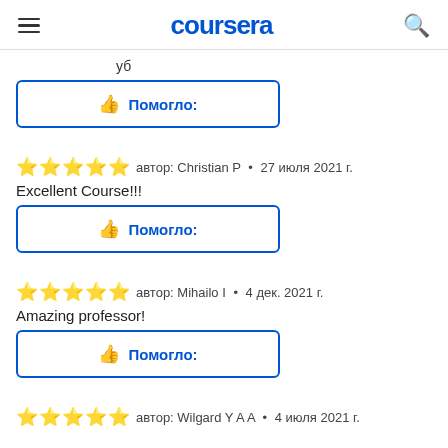coursera
уб
👍 Помогло:
⭐⭐⭐⭐⭐  автор: Christian P  •  27 июля 2021 г.
Excellent Course!!!
👍 Помогло:
⭐⭐⭐⭐⭐  автор: Mihailo I  •  4 дек. 2021 г.
Amazing professor!
👍 Помогло:
⭐⭐⭐⭐  автор: Wilgard Y A A  •  4 июля 2021 г.